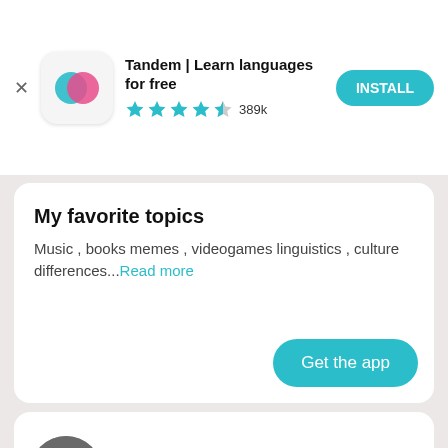[Figure (screenshot): Tandem app banner with logo icon, app title, star rating, and INSTALL button]
My favorite topics
Music , books memes , videogames linguistics , culture differences...Read more
[Figure (screenshot): Get the app button (teal rounded rectangle)]
[Figure (photo): Circular avatar photo of Bastian from Temuco]
Bastian
Temuco